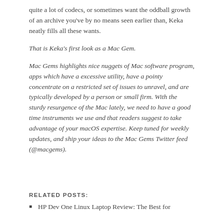quite a lot of codecs, or sometimes want the oddball growth of an archive you've by no means seen earlier than, Keka neatly fills all these wants.
That is Keka's first look as a Mac Gem.
Mac Gems highlights nice nuggets of Mac software program, apps which have a excessive utility, have a pointy concentrate on a restricted set of issues to unravel, and are typically developed by a person or small firm. With the sturdy resurgence of the Mac lately, we need to have a good time instruments we use and that readers suggest to take advantage of your macOS expertise. Keep tuned for weekly updates, and ship your ideas to the Mac Gems Twitter feed (@macgems).
RELATED POSTS:
HP Dev One Linux Laptop Review: The Best for